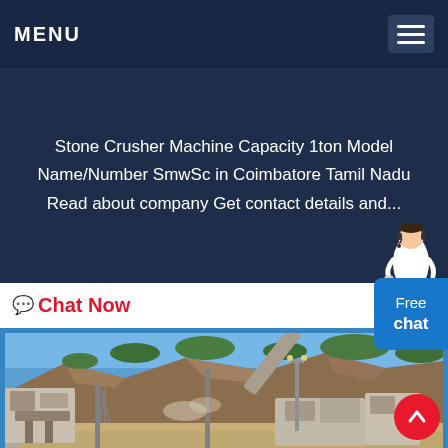MENU
Stone Crusher Machine Capacity 1ton Model Name/Number SmwSc in Coimbatore Tamil Nadu Read about company Get contact details and...
💬 Chat Now
[Figure (photo): Outdoor stone crusher / quarry plant with conveyor belts, machinery, a hillside rock face with vegetation, clear blue sky, and dusty ground]
Free chat